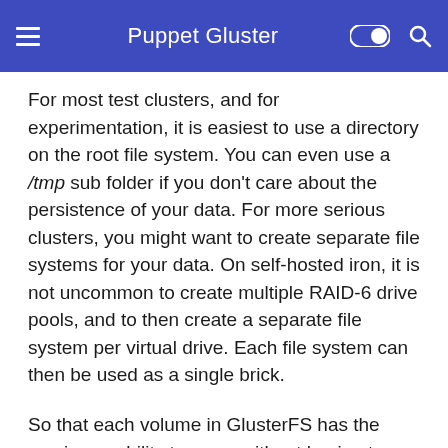Puppet Gluster
For most test clusters, and for experimentation, it is easiest to use a directory on the root file system. You can even use a /tmp sub folder if you don't care about the persistence of your data. For more serious clusters, you might want to create separate file systems for your data. On self-hosted iron, it is not uncommon to create multiple RAID-6 drive pools, and to then create a separate file system per virtual drive. Each file system can then be used as a single brick.
So that each volume in GlusterFS has the maximum ability to grow, without having to partition storage separately, the bricks in Puppet-Gluster are actually folders (on whatever backing store you wish) which then contain sub folders–one for each volume. As a result, all the volumes on a given GlusterFS cluster can share the total available storage space. If you wish to limit the storage used by each volume, you can setup quotas. Alternatively, you can